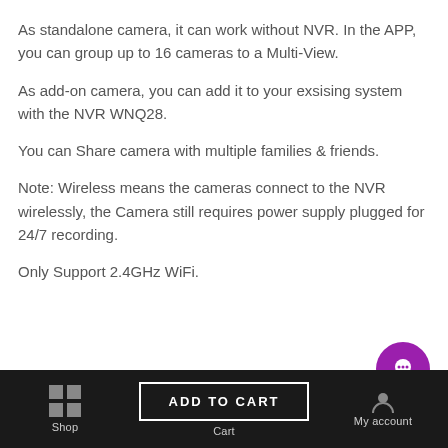As standalone camera, it can work without NVR. In the APP, you can group up to 16 cameras to a Multi-View.
As add-on camera, you can add it to your exsising system with the NVR WNQ28.
You can Share camera with multiple families & friends.
Note: Wireless means the cameras connect to the NVR wirelessly, the Camera still requires power supply plugged for 24/7 recording.
Only Support 2.4GHz WiFi.
Shop | ADD TO CART | Cart | My account